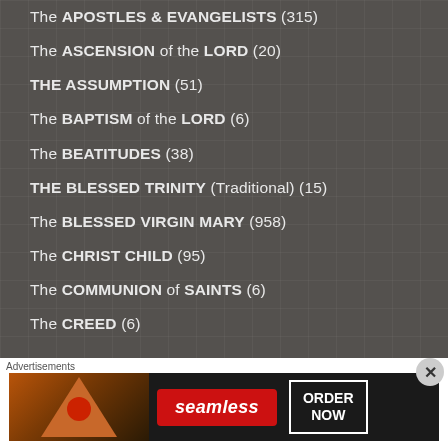The APOSTLES & EVANGELISTS (315)
The ASCENSION of the LORD (20)
THE ASSUMPTION (51)
The BAPTISM of the LORD (6)
The BEATITUDES (38)
THE BLESSED TRINITY (Traditional) (15)
The BLESSED VIRGIN MARY (958)
The CHRIST CHILD (95)
The COMMUNION of SAINTS (6)
The CREED (6)
Advertisements
[Figure (other): Seamless food delivery advertisement banner with pizza image, Seamless logo in red, and ORDER NOW button]